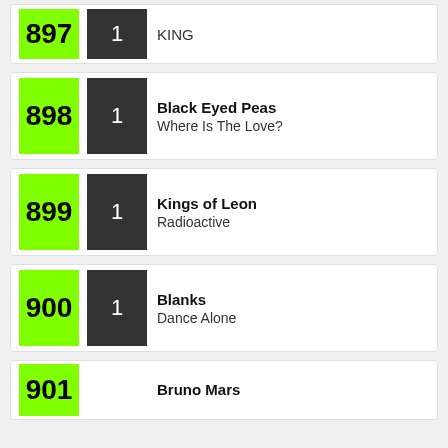897 | 1 | KING
898 | 1 | Black Eyed Peas | Where Is The Love?
899 | 1 | Kings of Leon | Radioactive
900 | 1 | Blanks | Dance Alone
901 | Bruno Mars